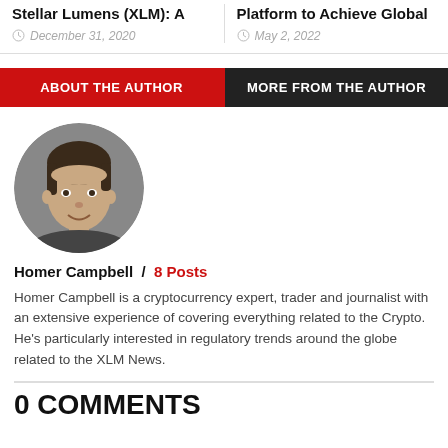Stellar Lumens (XLM): A
December 31, 2020
Platform to Achieve Global
May 2, 2022
ABOUT THE AUTHOR
MORE FROM THE AUTHOR
[Figure (photo): Circular headshot photo of Homer Campbell, a man with short dark hair, wearing a dark top, pictured against a grey background.]
Homer Campbell / 8 Posts
Homer Campbell is a cryptocurrency expert, trader and journalist with an extensive experience of covering everything related to the Crypto. He's particularly interested in regulatory trends around the globe related to the XLM News.
0 COMMENTS